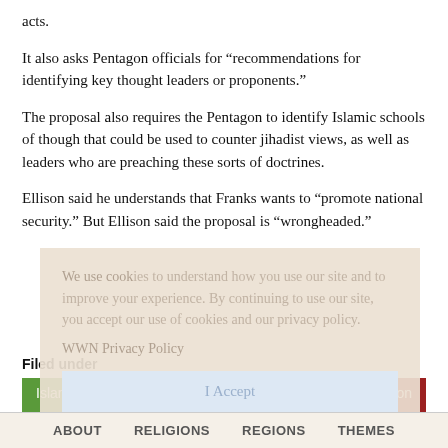acts.
It also asks Pentagon officials for “recommendations for identifying key thought leaders or proponents.”
The proposal also requires the Pentagon to identify Islamic schools of though that could be used to counter jihadist views, as well as leaders who are preaching these sorts of doctrines.
Ellison said he understands that Franks wants to “promote national security.” But Ellison said the proposal is “wrongheaded.”
We use cookies to understand how you use our site and to improve your experience. By continuing to use our site, you accept our use of cookies and our privacy policy.
WWN Privacy Policy
I Accept
Filed under
Islam	United States	Discrimination	State/Religion
ABOUT   RELIGIONS   REGIONS   THEMES